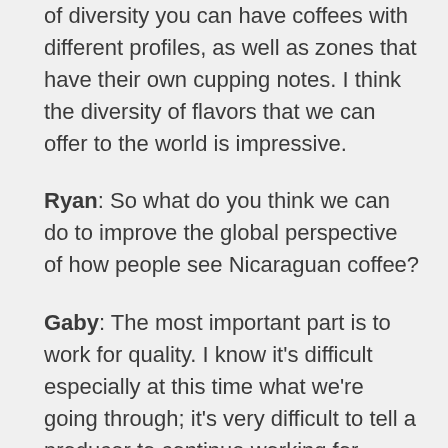of diversity you can have coffees with different profiles, as well as zones that have their own cupping notes. I think the diversity of flavors that we can offer to the world is impressive.
Ryan: So what do you think we can do to improve the global perspective of how people see Nicaraguan coffee?
Gaby: The most important part is to work for quality. I know it's difficult especially at this time what we're going through; it's very difficult to tell a producer to continue working for quality, practically everything is more expensive. The financing part is something that is really affecting producers, but the only advantage we have as a country is working on quality, so maybe getting together as producers, having people like you